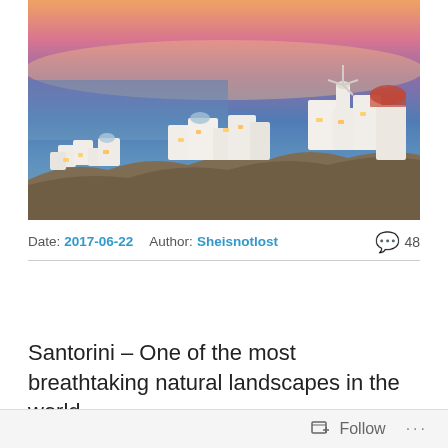[Figure (photo): Aerial/elevated view of Santorini, Greece at sunset/dusk. White-washed buildings cascade down a hillside with warm orange and pink sky, a windmill and domed church visible, warm lights glowing in the buildings.]
Date: 2017-06-22   Author: Sheisnotlost   💬 48
Santorini – One of the most breathtaking natural landscapes in the world